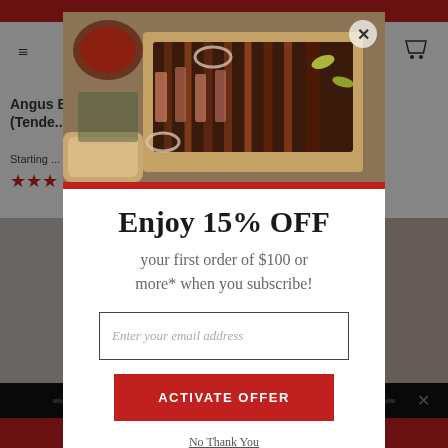[Figure (screenshot): Background of a meat/food e-commerce website with red header bar, navigation, product title 'Angus (Tende...' with starting price, star ratings, and product images at bottom]
[Figure (photo): Food photo showing sliced smoked brisket on a cutting board with pickled peppers, onion rings, sauce bowl, and bread]
Enjoy 15% OFF
your first order of $100 or more* when you subscribe!
Enter your email address
ACTIVATE OFFER
No Thank You